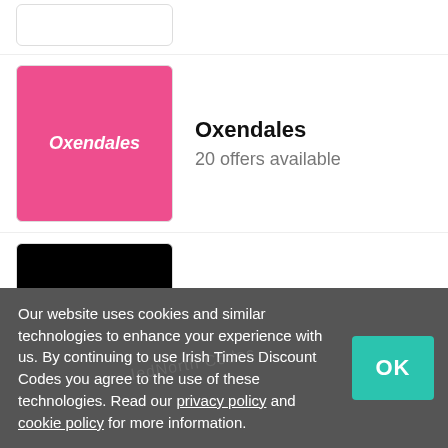[Figure (logo): Partial brand logo box at top of page, partially cropped]
Oxendales — 20 offers available
Littlewoods — 16 offers available
New Balance — 13 offers available
Bershka — 12 offers available
Our website uses cookies and similar technologies to enhance your experience with us. By continuing to use Irish Times Discount Codes you agree to the use of these technologies. Read our privacy policy and cookie policy for more information.